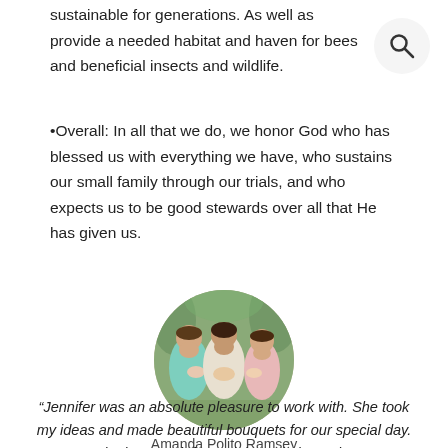sustainable for generations. As well as provide a needed habitat and haven for bees and beneficial insects and wildlife.
•Overall: In all that we do, we honor God who has blessed us with everything we have, who sustains our small family through our trials, and who expects us to be good stewards over all that He has given us.
[Figure (photo): Circular portrait photo of three women in formal/bridesmaid dresses standing outdoors among trees]
Amanda Polito Ramsey
“Jennifer was an absolute pleasure to work with. She took my ideas and made beautiful bouquets for our special day. She kept me informed through the entire